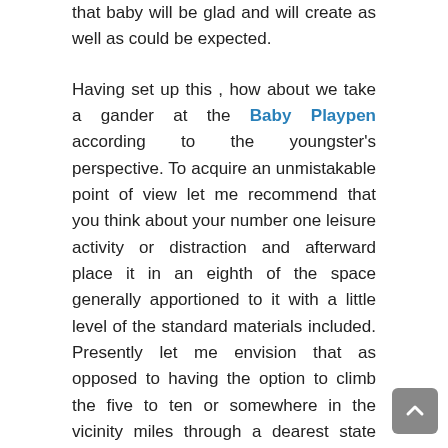that baby will be glad and will create as well as could be expected.
Having set up this , how about we take a gander at the Baby Playpen according to the youngster's perspective. To acquire an unmistakable point of view let me recommend that you think about your number one leisure activity or distraction and afterward place it in an eighth of the space generally apportioned to it with a little level of the standard materials included. Presently let me envision that as opposed to having the option to climb the five to ten or somewhere in the vicinity miles through a dearest state park, I am compelled to climb around a quarter mile track, with nothing to take a gander at except for some snow wall several trees.
Or then again, to exacerbate the situation, I'm compelled to climb in a racquetball court. Would not